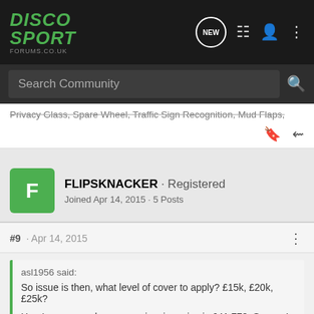DiscoSport Forums.co.uk
Privacy Glass, Spare Wheel, Traffic Sign Recognition, Mud Flaps,
FLIPSKNACKER · Registered
Joined Apr 14, 2015 · 5 Posts
#9 · Apr 14, 2015
asl1956 said:
So issue is then, what level of cover to apply? £15k, £20k, £25k?

Here's an example, new car invoice price is £41,778. So say I want 3 year cover. Doomsday scenario car written of in the 35th Month. So